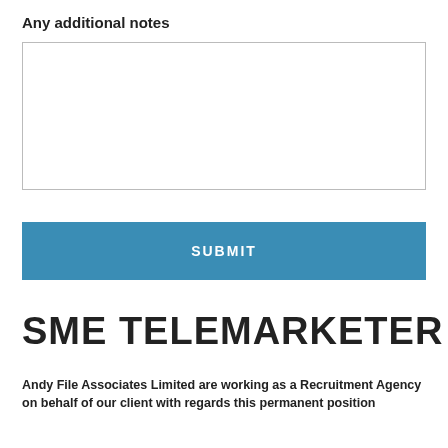Any additional notes
[Figure (other): Empty text area input box with thin gray border]
[Figure (other): Blue submit button with white bold uppercase text SUBMIT]
SME TELEMARKETER
Andy File Associates Limited are working as a Recruitment Agency on behalf of our client with regards this permanent position
Overall Objective:
To develop the income of the business through direct sales